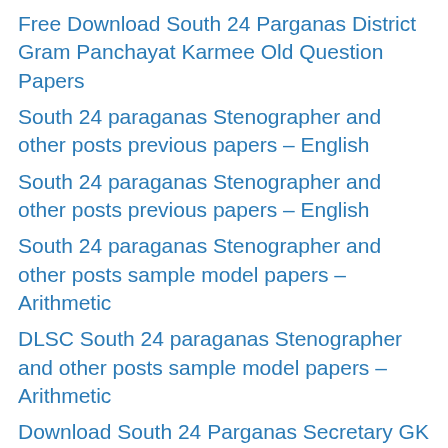Free Download South 24 Parganas District Gram Panchayat Karmee Old Question Papers
South 24 paraganas Stenographer and other posts previous papers – English
South 24 paraganas Stenographer and other posts previous papers – English
South 24 paraganas Stenographer and other posts sample model papers – Arithmetic
DLSC South 24 paraganas Stenographer and other posts sample model papers – Arithmetic
Download South 24 Parganas Secretary GK Previous Papers
DLSC South 24 Parganas Secretary English